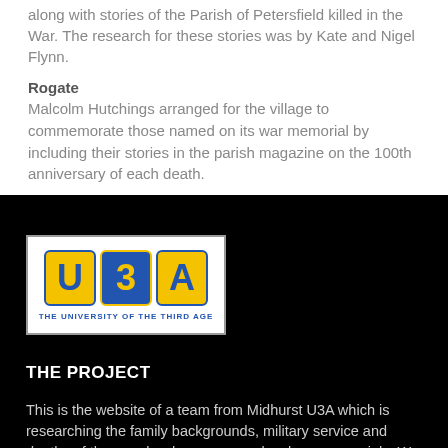along with stories of the Parish of Petersfield killed in the War. The research for these stories was by Kate and Nigel Flynn.
Rogate
Malcolm Hutchings arranged for the village to commemorate those named on its war memorial by including their stories in the parish magazine on the 100th anniversary of each death.
[Figure (logo): U3A logo - The University of the Third Age. Three blocks with letters U, 3, A. U and A on yellow background with blue text, 3 on blue background with yellow text. Below the blocks: THE UNIVERSITY OF THE THIRD AGE]
THE PROJECT
This is the website of a team from Midhurst U3A which is researching the family backgrounds, military service and deaths of the people who appear on local war memorials. We started with the